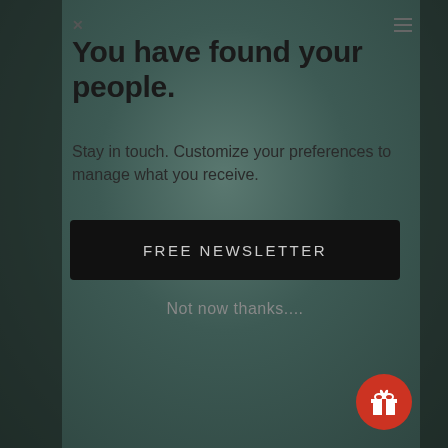You have found your people.
Stay in touch. Customize your preferences to manage what you receive.
FREE NEWSLETTER
Not now thanks....
[Figure (illustration): Red circular gift/reward button icon in bottom-right corner]